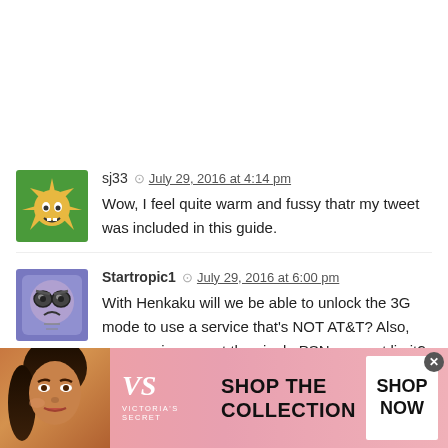sj33 — July 29, 2016 at 4:14 pm
Wow, I feel quite warm and fussy thatr my tweet was included in this guide.
Startropic1 — July 29, 2016 at 6:00 pm
With Henkaku will we be able to unlock the 3G mode to use a service that's NOT AT&T? Also, can we circumvent the single PSN account limit? (Y'know, be able to access stuff on multiple accounts without having to factory reset the system every fricken time...
[Figure (screenshot): Victoria's Secret advertisement banner with model photo, VS logo, 'SHOP THE COLLECTION' text, and 'SHOP NOW' button]